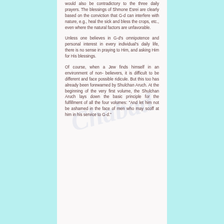would also be contradictory to the three daily prayers. The blessings of Shmone Esrei are clearly based on the conviction that G-d can interfere with nature, e.g., heal the sick and bless the crops, etc., even where the natural factors are unfavorable.
Unless one believes in G-d's omnipotence and personal interest in every individual's daily life, there is no sense in praying to Him, and asking Him for His blessings.
Of course, when a Jew finds himself in an environment of non- believers, it is difficult to be different and face possible ridicule. But this too has already been forewarned by Shulchan Aruch. At the beginning of the very first volume, the Shulchan Aruch lays down the basic principle for the fulfillment of all the four volumes: "And let him not be ashamed in the face of men who may scoff at him in his service to G-d."